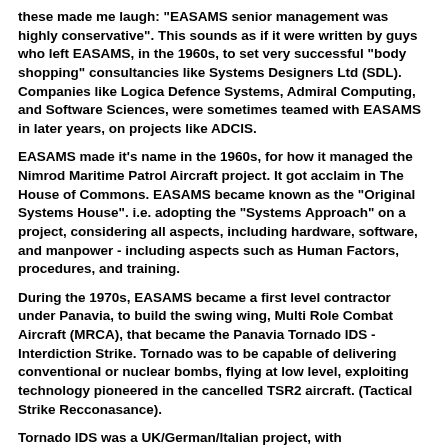these made me laugh: "EASAMS senior management was highly conservative". This sounds as if it were written by guys who left EASAMS, in the 1960s, to set very successful "body shopping" consultancies like Systems Designers Ltd (SDL). Companies like Logica Defence Systems, Admiral Computing, and Software Sciences, were sometimes teamed with EASAMS in later years, on projects like ADCIS.
EASAMS made it's name in the 1960s, for how it managed the Nimrod Maritime Patrol Aircraft project. It got acclaim in The House of Commons. EASAMS became known as the "Original Systems House". i.e. adopting the "Systems Approach" on a project, considering all aspects, including hardware, software, and manpower - including aspects such as Human Factors, procedures, and training.
During the 1970s, EASAMS became a first level contractor under Panavia, to build the swing wing, Multi Role Combat Aircraft (MRCA), that became the Panavia Tornado IDS - Interdiction Strike. Tornado was to be capable of delivering conventional or nuclear bombs, flying at low level, exploiting technology pioneered in the cancelled TSR2 aircraft. (Tactical Strike Recconasance).
Tornado IDS was a UK/German/Italian project, with